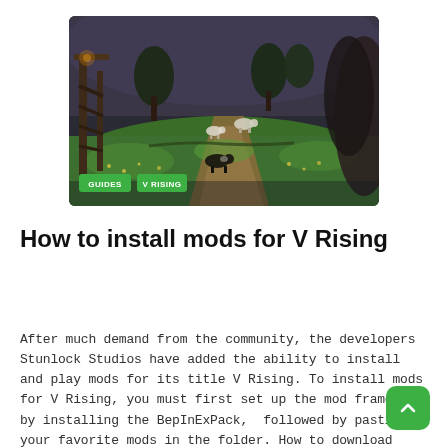[Figure (screenshot): Aerial/top-down view of a dark fantasy game scene (V Rising) showing a wooden tower structure on the left, a dirt path, green grass with yellow flowers, some animals (sheep/goats), and trees. Two green badge labels 'GUIDES' and 'V RISING' appear at bottom-left of image.]
How to install mods for V Rising
After much demand from the community, the developers Stunlock Studios have added the ability to install and play mods for its title V Rising. To install mods for V Rising, you must first set up the mod framework by installing the BepInExPack,  followed by pasting your favorite mods in the folder. How to download mods for V Rising — ModernCamera example As...